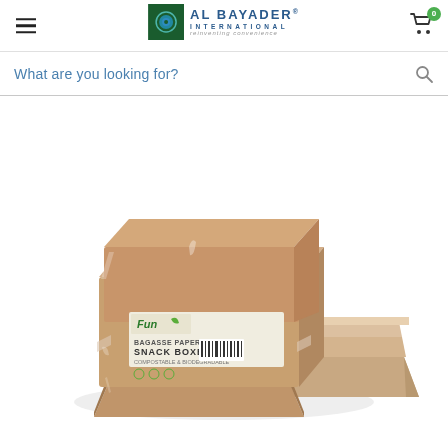AL BAYADER INTERNATIONAL reinventing convenience
What are you looking for?
[Figure (photo): Packaged kraft paper snack boxes (burger boxes) wrapped in a brown paper band, stacked together, with a label reading 'Fun Snack Boxes' on a white background.]